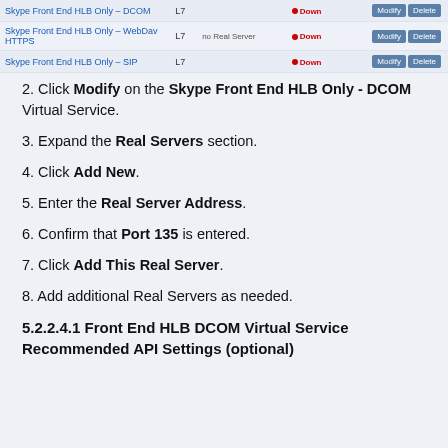[Figure (screenshot): Table showing three Virtual Services: Skype Front End HLB Only - DCOM, Skype Front End HLB Only - WebDav HTTPS, Skype Front End HLB Only - SIP, each with type L7, status Down, and Modify/Delete buttons]
2. Click Modify on the Skype Front End HLB Only - DCOM Virtual Service.
3. Expand the Real Servers section.
4. Click Add New.
5. Enter the Real Server Address.
6. Confirm that Port 135 is entered.
7. Click Add This Real Server.
8. Add additional Real Servers as needed.
5.2.2.4.1 Front End HLB DCOM Virtual Service Recommended API Settings (optional)